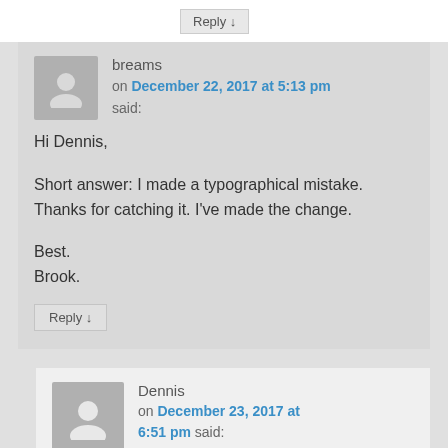Reply ↓
breams
on December 22, 2017 at 5:13 pm said:
Hi Dennis,

Short answer: I made a typographical mistake. Thanks for catching it. I've made the change.

Best.
Brook.
Reply ↓
Dennis
on December 23, 2017 at 6:51 pm said: